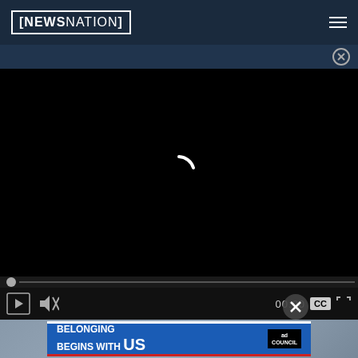NewsNation
[Figure (screenshot): Video player in dark/navy-blue website layout with loading spinner, seek bar, playback controls (play, mute, time 00:00, CC, fullscreen), and an ad banner at the bottom reading 'BELONGING BEGINS WITH US' with Ad Council logo.]